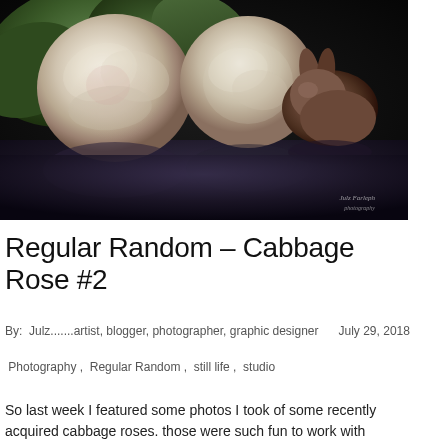[Figure (photo): Still life photograph of white/cream cabbage roses with green leaves on a dark reflective black surface, with a small bronze rabbit figurine on the right side. The flowers are reflected in the shiny surface below.]
Regular Random – Cabbage Rose #2
By:  Julz.......artist, blogger, photographer, graphic designer     July 29, 2018
Photography ,  Regular Random ,  still life ,  studio
So last week I featured some photos I took of some recently acquired cabbage roses. those were such fun to work with